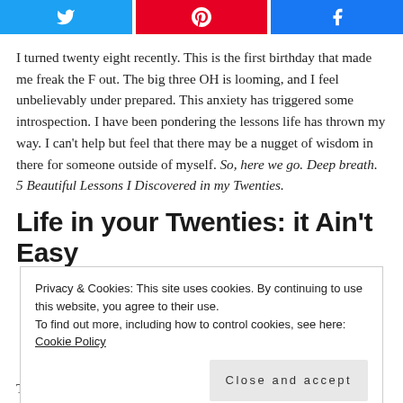[Figure (other): Social share buttons bar with Twitter (blue), Pinterest (red), and Facebook (blue) icons]
I turned twenty eight recently.  This is the first birthday that made me freak the F out.  The big three OH is looming, and I feel unbelievably under prepared.  This anxiety has triggered some introspection.  I have been pondering the lessons life has thrown my way.  I can't help but feel that there may be a nugget of wisdom in there for someone outside of myself.  So, here we go.  Deep breath.  5 Beautiful Lessons I Discovered in my Twenties.
Life in your Twenties: it Ain't Easy
Privacy & Cookies: This site uses cookies. By continuing to use this website, you agree to their use.
To find out more, including how to control cookies, see here: Cookie Policy
The phrase 'winging it' comes to mind.